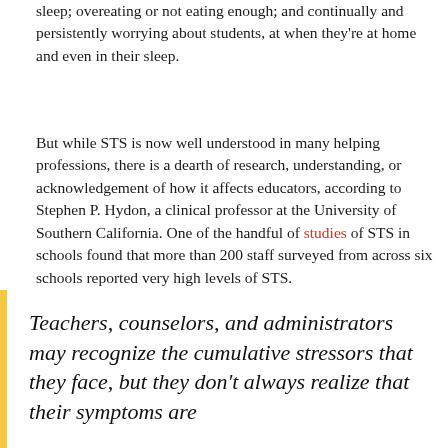sleep; overeating or not eating enough; and continually and persistently worrying about students, at when they're at home and even in their sleep.
But while STS is now well understood in many helping professions, there is a dearth of research, understanding, or acknowledgement of how it affects educators, according to Stephen P. Hydon, a clinical professor at the University of Southern California. One of the handful of studies of STS in schools found that more than 200 staff surveyed from across six schools reported very high levels of STS.
Teachers, counselors, and administrators may recognize the cumulative stressors that they face, but they don't always realize that their symptoms are